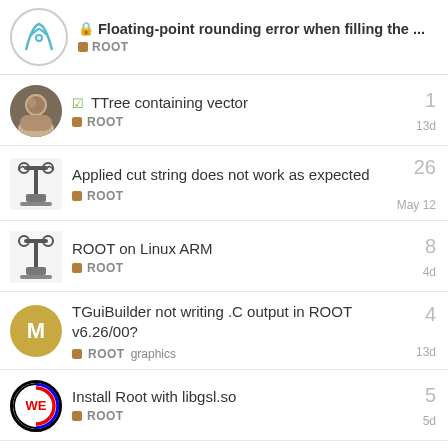Floating-point rounding error when filling the ... ROOT
TTree containing vector | ROOT | 1 | 13d
Applied cut string does not work as expected | ROOT | 26 | May 12
ROOT on Linux ARM | ROOT | 8 | 4d
TGuiBuilder not writing .C output in ROOT v6.26/00? | ROOT graphics | 4 | 13d
Install Root with libgsl.so | ROOT | 5 | 5d
Want to read more? Browse other topics in ...